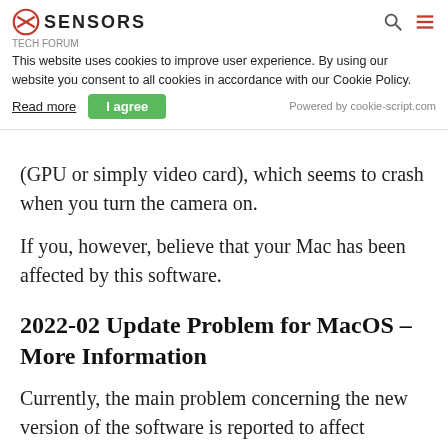SENSORS TECH FORUM — cookie banner overlay
This website uses cookies to improve user experience. By using our website you consent to all cookies in accordance with our Cookie Policy.
Read more   I agree   Powered by cookie-script.com
that is related to the Graphics Processor Unit (GPU or simply video card), which seems to crash when you turn the camera on.
If you, however, believe that your Mac has been affected by this software.
2022-02 Update Problem for MacOS – More Information
Currently, the main problem concerning the new version of the software is reported to affect MacBooks in the following ways:
-The user downloads the new update.
-Everything seems to be stable, besides some apps reported to be crashing.
-Once Zoom or other apps that use the camera of